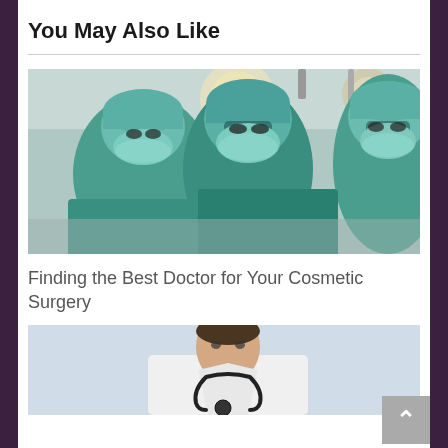You May Also Like
[Figure (photo): Three surgeons in green scrubs and surgical masks looking down under bright operating room lights]
Finding the Best Doctor for Your Cosmetic Surgery
[Figure (photo): Doctor in white coat with stethoscope around neck, partial view from chest up]